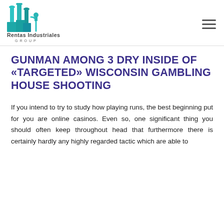[Figure (logo): Rentas Industriales Group logo with industrial building/pipes icon in teal/cyan colors and text below]
GUNMAN AMONG 3 DRY INSIDE OF «TARGETED» WISCONSIN GAMBLING HOUSE SHOOTING
If you intend to try to study how playing runs, the best beginning put for you are online casinos. Even so, one significant thing you should often keep throughout head that furthermore there is certainly hardly any highly regarded tactic which are able to